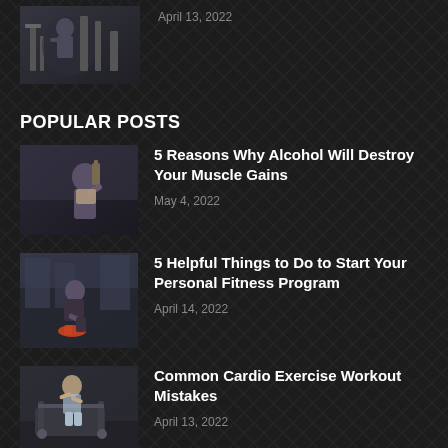[Figure (photo): Partial gym/fitness image at top]
April 13, 2022
POPULAR POSTS
[Figure (photo): Man drinking from bottle, fitness photo]
5 Reasons Why Alcohol Will Destroy Your Muscle Gains
May 4, 2022
[Figure (photo): Man tying shoe outdoors, fitness photo]
5 Helpful Things to Do to Start Your Personal Fitness Program
April 14, 2022
[Figure (photo): Man on treadmill in gym, fitness photo]
Common Cardio Exercise Workout Mistakes
April 13, 2022